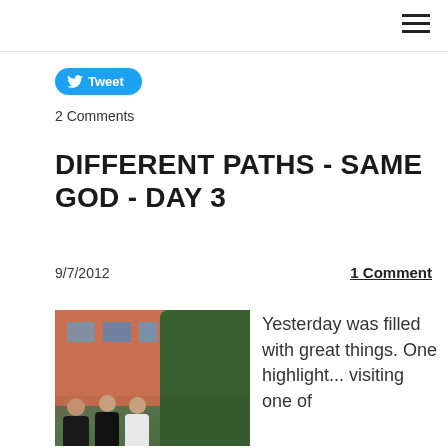Tweet
2 Comments
DIFFERENT PATHS - SAME GOD - DAY 3
9/7/2012
1 Comment
[Figure (photo): Three women standing together outside a brick building with green trees in the background]
Yesterday was filled with great things. One highlight... visiting one of